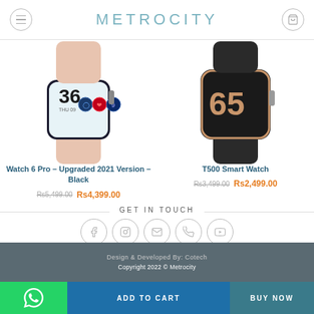METROCITY
[Figure (photo): Watch 6 Pro smartwatch product image showing a smartwatch with pink band displaying time 36 and fitness icons]
Watch 6 Pro – Upgraded 2021 Version – Black
Rs5,499.00  Rs4,399.00
[Figure (photo): T500 Smart Watch product image showing a black smartwatch with digital display]
T500 Smart Watch
Rs3,499.00  Rs2,499.00
GET IN TOUCH
[Figure (infographic): Social media icons row: Facebook, Instagram, Email, Phone, YouTube - all in circular outlines]
Design & Developed By: Cotech
Copyright 2022 © Metrocity
ADD TO CART
BUY NOW